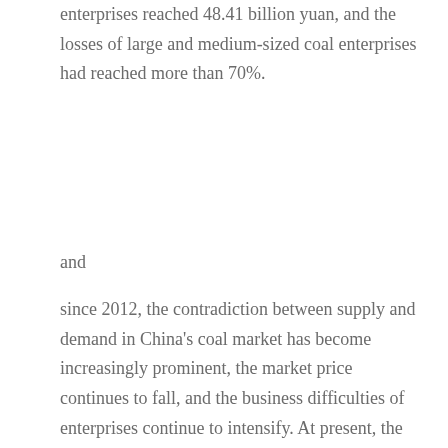enterprises reached 48.41 billion yuan, and the losses of large and medium-sized coal enterprises had reached more than 70%.
and
since 2012, the contradiction between supply and demand in China's coal market has become increasingly prominent, the market price continues to fall, and the business difficulties of enterprises continue to intensify. At present, the market price of 5500 kcal steam coal in Qinhuangdao port is 415 yuan / ton, which is more than 50% lower than the historical high point.
Lu Junling said at the media conference held by the